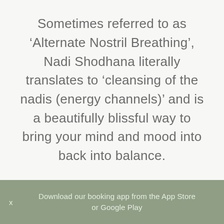Sometimes referred to as ‘Alternate Nostril Breathing’, Nadi Shodhana literally translates to ‘cleansing of the nadis (energy channels)’ and is a beautifully blissful way to bring your mind and mood into back into balance.
Download our booking app from the App Store or Google Play